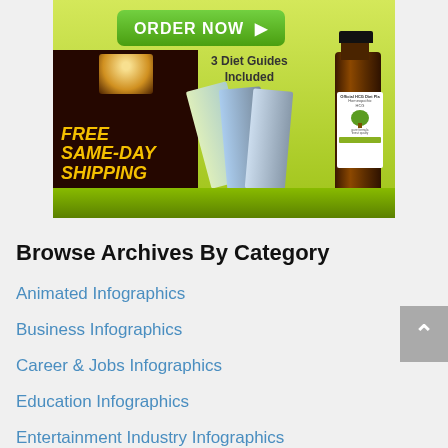[Figure (illustration): Advertisement banner for Official HCG Diet Plan showing ORDER NOW button, FREE SAME-DAY SHIPPING text, diet guide books, and a brown bottle of Homeopathic HCG]
Browse Archives By Category
Animated Infographics
Business Infographics
Career & Jobs Infographics
Education Infographics
Entertainment Industry Infographics